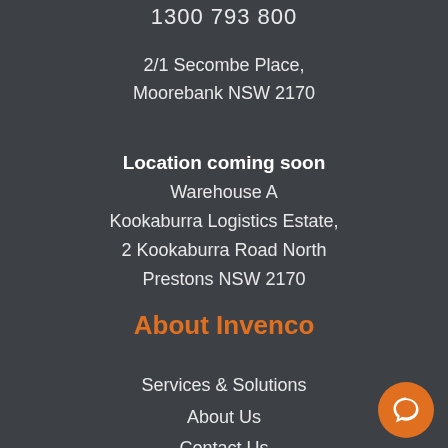1300 793 800
2/1 Secombe Place,
Moorebank NSW 2170
Location coming soon
Warehouse A
Kookaburra Logistics Estate,
2 Kookaburra Road North
Prestons NSW 2170
About Invenco
Services & Solutions
About Us
Contact Us
Jobs